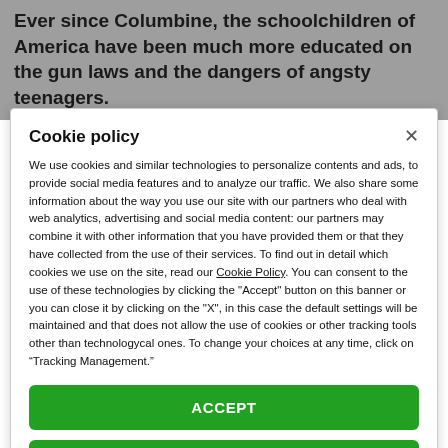Ever since Columbine, the schoolchildren of America have been much more educated on the gun laws and the dangers of angsty teenagers.
Cookie policy
We use cookies and similar technologies to personalize contents and ads, to provide social media features and to analyze our traffic. We also share some information about the way you use our site with our partners who deal with web analytics, advertising and social media content: our partners may combine it with other information that you have provided them or that they have collected from the use of their services. To find out in detail which cookies we use on the site, read our Cookie Policy. You can consent to the use of these technologies by clicking the "Accept" button on this banner or you can close it by clicking on the "X", in this case the default settings will be maintained and that does not allow the use of cookies or other tracking tools other than technologycal ones. To change your choices at any time, click on “Tracking Management.”
ACCEPT
TRACKERS MANAGEMENT
Show vendors | Show purposes